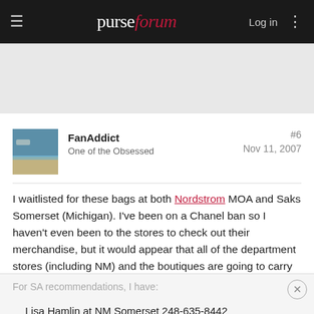purseforum — Log in
[Figure (other): Gray advertisement placeholder area]
FanAddict
One of the Obsessed
#6
Nov 11, 2007
I waitlisted for these bags at both Nordstrom MOA and Saks Somerset (Michigan). I've been on a Chanel ban so I haven't even been to the stores to check out their merchandise, but it would appear that all of the department stores (including NM) and the boutiques are going to carry it, in silver and gold.
For SA recommendations, I have:
Lisa Hamlin at NM Somerset 248-635-8442
Diane at Saks Somerset 248-643-9000 ext 5404
Lucas at Nordstom MOA 952-883-2121 ext 1390